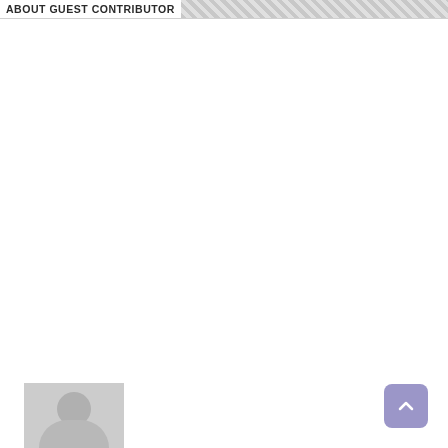ABOUT GUEST CONTRIBUTOR
[Figure (photo): Gray placeholder avatar image showing a silhouette of a person (head and shoulders) at the bottom-left of the page]
[Figure (other): Purple/lavender rounded square scroll-to-top button with an upward-pointing chevron arrow, positioned at bottom-right]